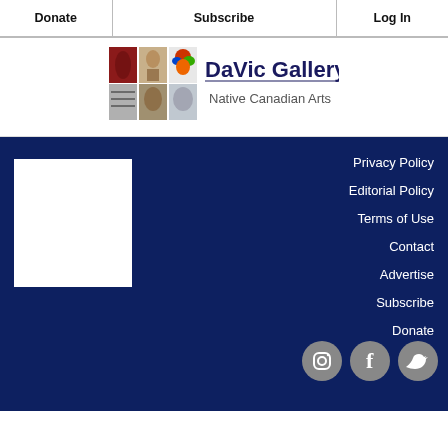Donate | Subscribe | Log In
[Figure (logo): DaVic Gallery Native Canadian Arts logo with colorful totem-style imagery]
Privacy Policy
Editorial Policy
Terms of Use
Contact
Advertise
Subscribe
Donate
[Figure (illustration): Social media icons: Instagram, Facebook, Twitter (circular white icons on dark blue background)]